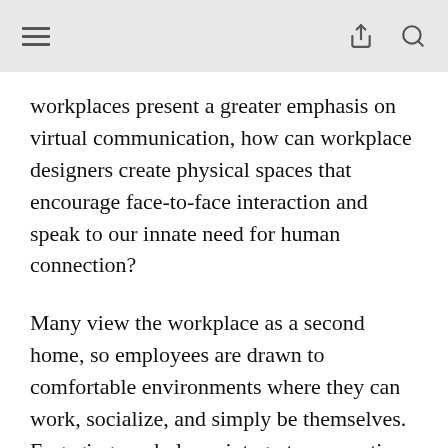[navigation bar with hamburger menu, share icon, and search icon]
workplaces present a greater emphasis on virtual communication, how can workplace designers create physical spaces that encourage face-to-face interaction and speak to our innate need for human connection?
Many view the workplace as a second home, so employees are drawn to comfortable environments where they can work, socialize, and simply be themselves. Engaging workplaces integrate connection points and collaboration zones where people can interact with their colleagues. Designing a space that attracts (and retains) employees means creating an office that draws those employees back to